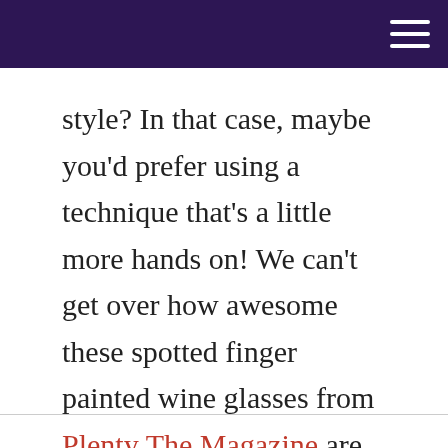[navigation bar with hamburger menu]
style? In that case, maybe you'd prefer using a technique that's a little more hands on! We can't get over how awesome these spotted finger painted wine glasses from Plenty The Magazine are, especially if you create them multi-coloured!